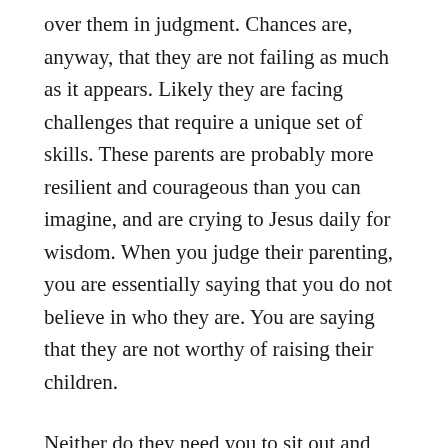over them in judgment. Chances are, anyway, that they are not failing as much as it appears. Likely they are facing challenges that require a unique set of skills. These parents are probably more resilient and courageous than you can imagine, and are crying to Jesus daily for wisdom. When you judge their parenting, you are essentially saying that you do not believe in who they are. You are saying that they are not worthy of raising their children.
Neither do they need you to sit out and ignore them. Ignoring sends the message that you are uncomfortable and unwilling to engage in the messy parts of their lives. It tells them that they are not worth noticing, not worth the effort to support. Ignoring says that you don't